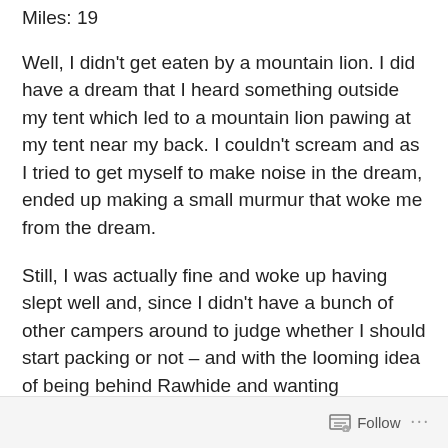Miles: 19
Well, I didn't get eaten by a mountain lion. I did have a dream that I heard something outside my tent which led to a mountain lion pawing at my tent near my back. I couldn't scream and as I tried to get myself to make noise in the dream, ended up making a small murmur that woke me from the dream.
Still, I was actually fine and woke up having slept well and, since I didn't have a bunch of other campers around to judge whether I should start packing or not – and with the looming idea of being behind Rawhide and wanting McDonalds –
Follow ...